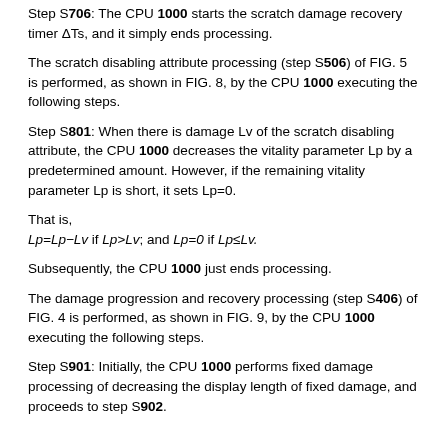Step S706: The CPU 1000 starts the scratch damage recovery timer ΔTs, and it simply ends processing.
The scratch disabling attribute processing (step S506) of FIG. 5 is performed, as shown in FIG. 8, by the CPU 1000 executing the following steps.
Step S801: When there is damage Lv of the scratch disabling attribute, the CPU 1000 decreases the vitality parameter Lp by a predetermined amount. However, if the remaining vitality parameter Lp is short, it sets Lp=0.
That is,
Lp=Lp−Lv if Lp>Lv; and Lp=0 if Lp≤Lv.
Subsequently, the CPU 1000 just ends processing.
The damage progression and recovery processing (step S406) of FIG. 4 is performed, as shown in FIG. 9, by the CPU 1000 executing the following steps.
Step S901: Initially, the CPU 1000 performs fixed damage processing of decreasing the display length of fixed damage, and proceeds to step S902.